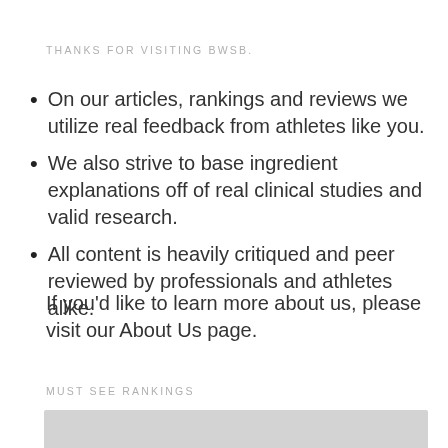THANKS FOR VISITING BWSB.
On our articles, rankings and reviews we utilize real feedback from athletes like you.
We also strive to base ingredient explanations off of real clinical studies and valid research.
All content is heavily critiqued and peer reviewed by professionals and athletes alike.
If you’d like to learn more about us, please visit our About Us page.
MUST SEE RANKINGS
[Figure (other): Gray placeholder image/box at the bottom of the page]